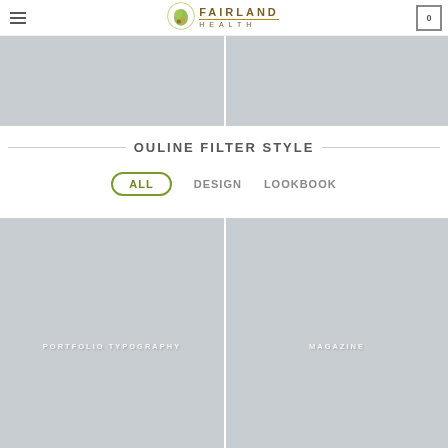FAIRLAND HEALTH
[Figure (photo): Two gray placeholder image blocks side by side (top strip)]
OULINE FILTER STYLE
ALL   DESIGN   LOOKBOOK
[Figure (photo): Left gray placeholder image labeled PORTFOLIO TYPOGRAPHY]
[Figure (photo): Right gray placeholder image labeled MAGAZINE]